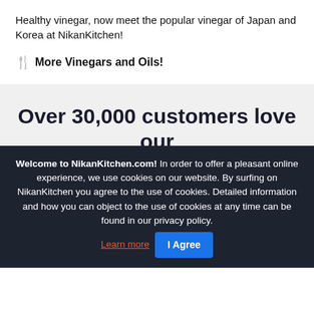Healthy vinegar, now meet the popular vinegar of Japan and Korea at NikanKitchen!
🍴 More Vinegars and Oils!
Over 30,000 customers love our products
★★★★★ Top. Top Ware, sehr freundlicher und zuvorkommender Kundenservice. Da kauft man gerne ein.
Welcome to NikanKitchen.com! In order to offer a pleasant online experience, we use cookies on our website. By surfing on NikanKitchen you agree to the use of cookies. Detailed information and how you can object to the use of cookies at any time can be found in our privacy policy. Learn more  I Agree